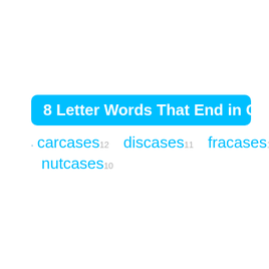8 Letter Words That End in Cases
carcases 12
discases 11
fracases 13
nutcases 10